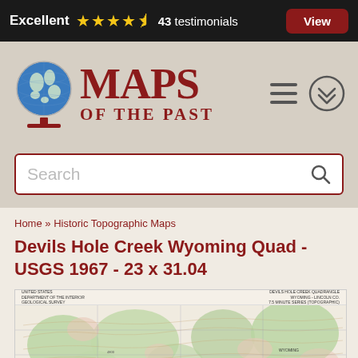Excellent ★★★★½ 43 testimonials | View
[Figure (logo): Maps of the Past logo with globe icon and red serif text reading MAPS OF THE PAST]
Search
Home » Historic Topographic Maps
Devils Hole Creek Wyoming Quad - USGS 1967 - 23 x 31.04
[Figure (map): Preview thumbnail of USGS 1967 Devils Hole Creek Wyoming topographic quadrangle map showing green forested areas, contour lines, and grid markings]